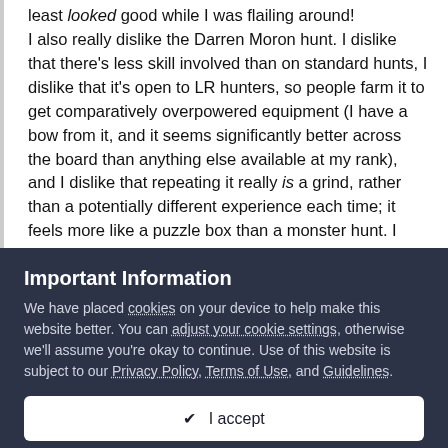least looked good while I was flailing around! I also really dislike the Darren Moron hunt. I dislike that there's less skill involved than on standard hunts, I dislike that it's open to LR hunters, so people farm it to get comparatively overpowered equipment (I have a bow from it, and it seems significantly better across the board than anything else available at my rank), and I dislike that repeating it really is a grind, rather than a potentially different experience each time; it feels more like a puzzle box than a monster hunt. I dunno, maybe I'm missing something? ph0rce: Not sure if I've added you, but will double-check
Important Information
We have placed cookies on your device to help make this website better. You can adjust your cookie settings, otherwise we'll assume you're okay to continue. Use of this website is subject to our Privacy Policy, Terms of Use, and Guidelines.
✔ I accept